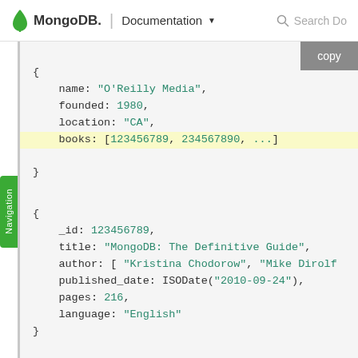MongoDB. | Documentation  Search Do
[Figure (screenshot): MongoDB documentation page showing a code block with two JSON documents. First document: { name: "O'Reilly Media", founded: 1980, location: "CA", books: [123456789, 234567890, ...] } with the books line highlighted in yellow. Second document: { _id: 123456789, title: "MongoDB: The Definitive Guide", author: [ "Kristina Chodorow", "Mike Dirolf"], published_date: ISODate("2010-09-24"), pages: 216, language: "English" }]
Navigation